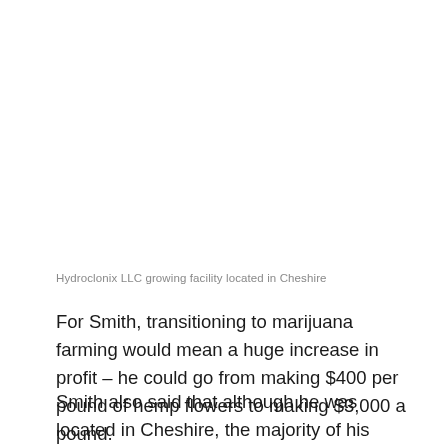Hydroclonix LLC growing facility located in Cheshire
For Smith, transitioning to marijuana farming would mean a huge increase in profit – he could go from making $400 per pound of hemp flowers to making $3,000 a pound.
Smith also said that although he was located in Cheshire, the majority of his workers were from Meriden, which is